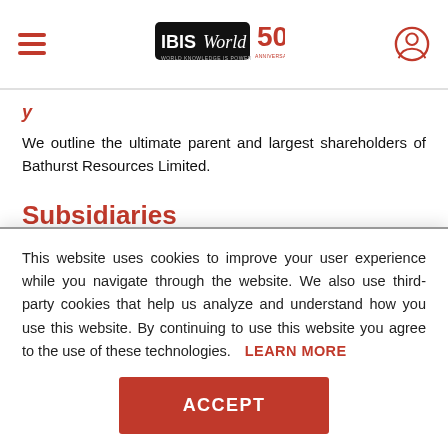IBISWorld — 50th Anniversary
We outline the ultimate parent and largest shareholders of Bathurst Resources Limited.
Subsidiaries
View a list of Bathurst Resources Limited's associated
This website uses cookies to improve your user experience while you navigate through the website. We also use third-party cookies that help us analyze and understand how you use this website. By continuing to use this website you agree to the use of these technologies. LEARN MORE
ACCEPT